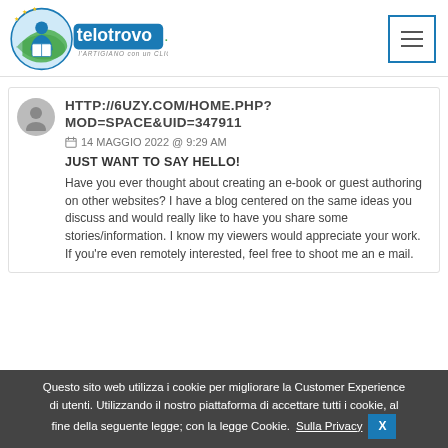[Figure (logo): telotrovo.it logo with tagline 'l'ARTIGIANO con un CLICK' and a hamburger menu icon on the right]
HTTP://6UZY.COM/HOME.PHP?MOD=SPACE&UID=347911
14 MAGGIO 2022 @ 9:29 AM
JUST WANT TO SAY HELLO!
Have you ever thought about creating an e-book or guest authoring on other websites? I have a blog centered on the same ideas you discuss and would really like to have you share some stories/information. I know my viewers would appreciate your work. If you're even remotely interested, feel free to shoot me an e mail.
Questo sito web utilizza i cookie per migliorare la Customer Experience di utenti. Utilizzando il nostro piattaforma di accettare tutti i cookie, al fine della seguente legge; con la legge Cookie. Sulla Privacy  X